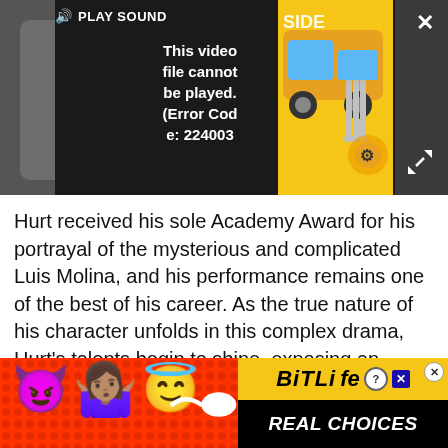[Figure (screenshot): Video player showing error message 'This video file cannot be played. (Error Code: 224003)' with PLAY SOUND label, close X button, expand arrows, and a yellow cartoon side panel. Dark background player UI.]
Hurt received his sole Academy Award for his portrayal of the mysterious and complicated Luis Molina, and his performance remains one of the best of his career. As the true nature of his character unfolds in this complex drama, Hurt's talents begin to shine, exposing an emotional and extremely versatile actor.
Buy Kiss of the Spider Woman on DVD/Blu-ray on Amazon
[Figure (screenshot): BitLife advertisement banner with emoji characters (devil, girl shrugging, angel), sperm graphic, BitLife logo with help and close icons, and 'REAL CHOICES' text on black background. Red dotted background.]